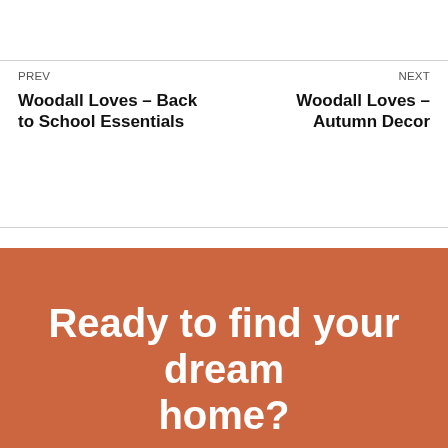PREV
Woodall Loves – Back to School Essentials
NEXT
Woodall Loves – Autumn Decor
Ready to find your dream home?